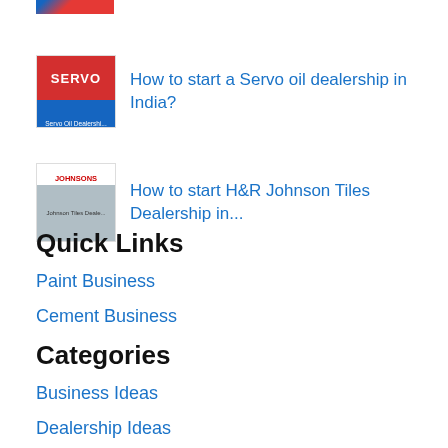[Figure (photo): Thumbnail image for Servo oil dealership article, showing SERVO logo in red and blue with text 'Servo Oil Dealershi...']
How to start a Servo oil dealership in India?
[Figure (photo): Thumbnail image for H&R Johnson Tiles Dealership article, showing tiles and Johnson logo]
How to start H&R Johnson Tiles Dealership in...
Quick Links
Paint Business
Cement Business
Categories
Business Ideas
Dealership Ideas